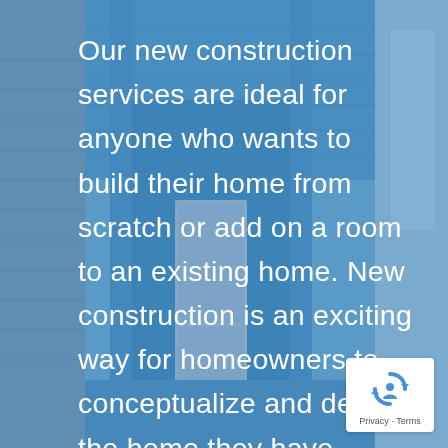[Figure (photo): Background photo of a blue-painted porch/hallway of a house, with columns and a door visible, overlaid with a semi-transparent blue tint]
Our new construction services are ideal for anyone who wants to build their home from scratch or add on a room to an existing home. New construction is an exciting way for homeowners to conceptualize and design the home they have always wanted. Our expert architects, engineers, and contractors will guide you through the process and help bring your vision to life.
[Figure (logo): Google reCAPTCHA badge with recycling-arrow icon and 'Privacy · Terms' text below]